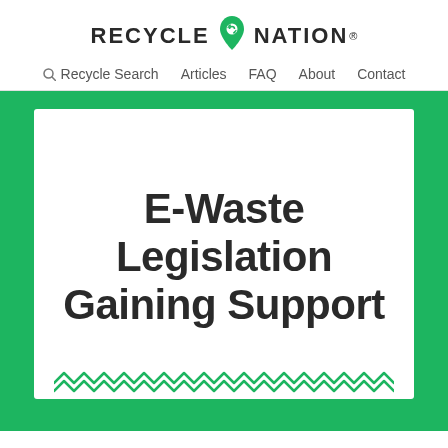RECYCLE NATION
Recycle Search  Articles  FAQ  About  Contact
E-Waste Legislation Gaining Support